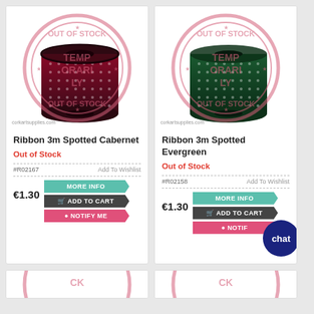[Figure (photo): Product card showing Ribbon 3m Spotted Cabernet (dark pink/maroon polka dot ribbon spool) with OUT OF STOCK TEMPORARILY watermark stamp]
Ribbon 3m Spotted Cabernet
Out of Stock
#R02167   Add To Wishlist
MORE INFO
€1.30   ADD TO CART
NOTIFY ME
[Figure (photo): Product card showing Ribbon 3m Spotted Evergreen (dark green polka dot ribbon spool) with OUT OF STOCK TEMPORARILY watermark stamp]
Ribbon 3m Spotted Evergreen
Out of Stock
#R02158   Add To Wishlist
MORE INFO
€1.30   ADD TO CART
NOTIFY ME
[Figure (photo): Partial view of bottom-left product card with OUT OF STOCK watermark]
[Figure (photo): Partial view of bottom-right product card with OUT OF STOCK watermark and chat button overlay]